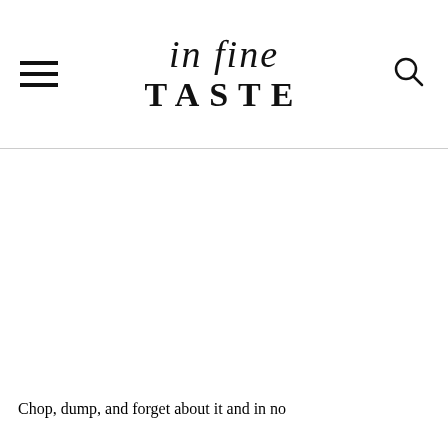in fine TASTE
[Figure (photo): Large blank/white image area below the header, representing an article image placeholder]
Chop, dump, and forget about it and in no